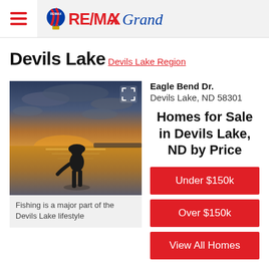RE/MAX Grand
Devils Lake
Devils Lake Region
[Figure (photo): Silhouette of a person standing in shallow water at sunset on Devils Lake, with dramatic cloudy sky and golden reflections on the water.]
Fishing is a major part of the Devils Lake lifestyle
Eagle Bend Dr.
Devils Lake, ND 58301
Homes for Sale in Devils Lake, ND by Price
Under $150k
Over $150k
View All Homes